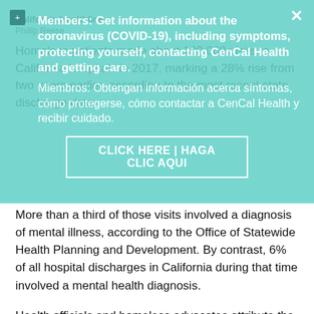California Healthline
Phillip Reese
Homeless patients made about 100,000 visits to California hospitals in 2017, marking a 28% rise from two years earlier, according to the most recent state discharge data.
Members: Get information about the coronavirus (COVID-19), including symptoms, protecting yourself, contacting CenCal Health and getting care.

Miembros: Obtengan información acerca síntomas, cómo protegerse, cómo contactar a CenCal Health y recibir cuidado.

CLICK HERE | HAGA CLIC AQUI
More than a third of those visits involved a diagnosis of mental illness, according to the Office of Statewide Health Planning and Development. By contrast, 6% of all hospital discharges in California during that time involved a mental health diagnosis.
Health officials and homeless advocates attribute the trend to the surging number of people living homeless